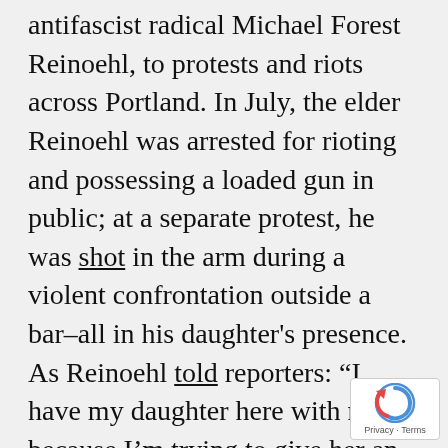antifascist radical Michael Forest Reinoehl, to protests and riots across Portland. In July, the elder Reinoehl was arrested for rioting and possessing a loaded gun in public; at a separate protest, he was shot in the arm during a violent confrontation outside a bar–all in his daughter's presence. As Reinoehl told reporters: “I have my daughter here with me because I’m trying to give her an education. The fact is, she’s going to be contributing to running this new country that we’re fighting for. And she’s going to learn everything on the street.” The following month, Reinoehl hunted a Trump supporter through